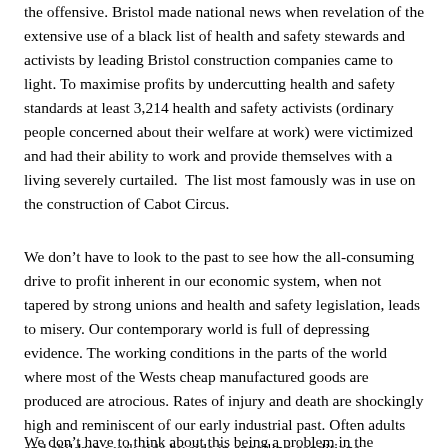the offensive. Bristol made national news when revelation of the extensive use of a black list of health and safety stewards and activists by leading Bristol construction companies came to light. To maximise profits by undercutting health and safety standards at least 3,214 health and safety activists (ordinary people concerned about their welfare at work) were victimized and had their ability to work and provide themselves with a living severely curtailed.  The list most famously was in use on the construction of Cabot Circus.
We don't have to look to the past to see how the all-consuming drive to profit inherent in our economic system, when not tapered by strong unions and health and safety legislation, leads to misery. Our contemporary world is full of depressing evidence. The working conditions in the parts of the world where most of the Wests cheap manufactured goods are produced are atrocious. Rates of injury and death are shockingly high and reminiscent of our early industrial past. Often adults and children work side by side in appalling conditions.
We don't have to think about this being a problem in the countries of...